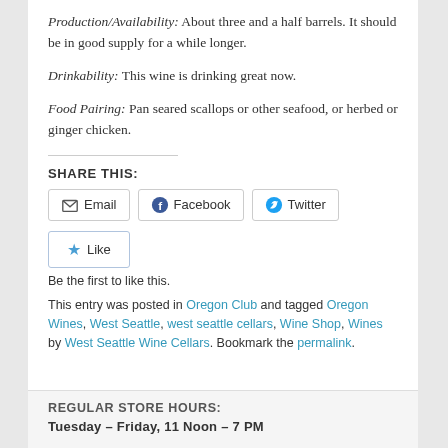Production/Availability: About three and a half barrels. It should be in good supply for a while longer.
Drinkability: This wine is drinking great now.
Food Pairing: Pan seared scallops or other seafood, or herbed or ginger chicken.
SHARE THIS:
Email | Facebook | Twitter | Like
Be the first to like this.
This entry was posted in Oregon Club and tagged Oregon Wines, West Seattle, west seattle cellars, Wine Shop, Wines by West Seattle Wine Cellars. Bookmark the permalink.
REGULAR STORE HOURS: